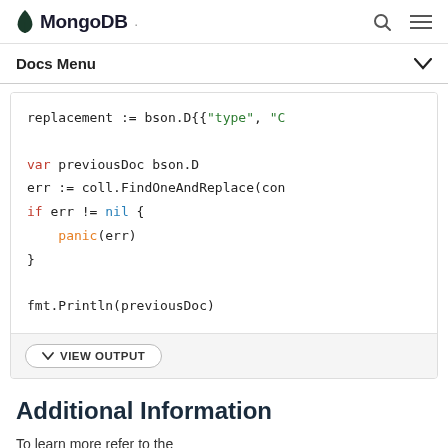MongoDB
Docs Menu
[Figure (screenshot): Code block showing Go code: replacement := bson.D{{"type", "C  var previousDoc bson.D  err := coll.FindOneAndReplace(con  if err != nil {      panic(err)  }  fmt.Println(previousDoc)]
VIEW OUTPUT
Additional Information
To learn more refer to the...